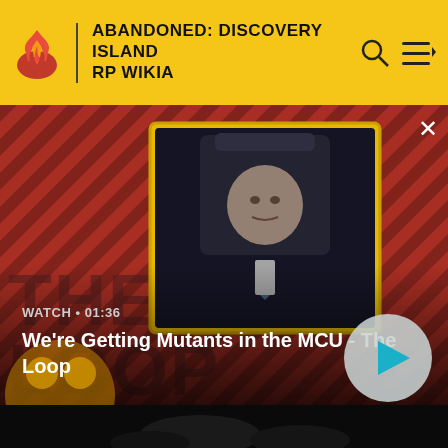ABANDONED: DISCOVERY ISLAND RP WIKIA
[Figure (screenshot): Video player banner showing a bald man in a suit seated in a chair, with a red diagonal-striped background and 'The Loop' text overlay. Watch duration 01:36 shown. Title: We're Getting Mutants in the MCU - The Loop]
We're Getting Mutants in the MCU - The Loop
[Figure (screenshot): Dark lower portion of a video showing dimly lit scene]